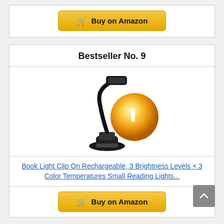[Figure (other): Buy on Amazon button (golden/yellow rounded rectangle with shopping cart icon) — partial top card]
Bestseller No. 9
[Figure (photo): A black clip-on book light with flexible gooseneck arm and LED head, shown with a glowing golden sphere illustrating warm light output]
Book Light Clip On Rechargeable, 3 Brightness Levels × 3 Color Temperatures Small Reading Lights...
[Figure (other): Buy on Amazon button (golden/yellow rounded rectangle with shopping cart icon) — bottom of card]